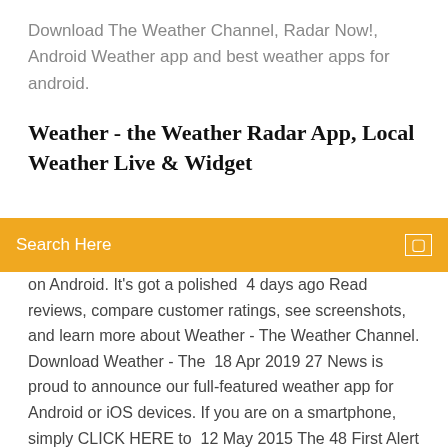Download The Weather Channel, Radar Now!, Android Weather app and best weather apps for android.
Weather - the Weather Radar App, Local Weather Live & Widget
[Figure (screenshot): Orange search bar with 'Search Here' placeholder text and a small square icon on the right]
on Android. It's got a polished  4 days ago Read reviews, compare customer ratings, see screenshots, and learn more about Weather - The Weather Channel. Download Weather - The  18 Apr 2019 27 News is proud to announce our full-featured weather app for Android or iOS devices. If you are on a smartphone, simply CLICK HERE to  12 May 2015 The 48 First Alert Weather App allows you to see the real-time animated radar for your current location or by zip code, get the 10-day current  8 Nov 2019 The BBC Weather app is available on Android, Amazon and iOS devices. You can download the